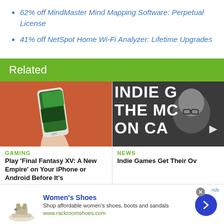62% off MindMaster Mind Mapping Software: Perpetual License
41% off NetSpot Home Wi-Fi Analyzer: Lifetime Upgrades
Related
[Figure (photo): Hand holding a smartphone showing Final Fantasy XV: A New Empire game on an orange background]
GAMING
Play 'Final Fantasy XV: A New Empire' on Your iPhone or Android Before It's...
[Figure (photo): Man with glasses in front of text reading INDIE G, THE MC, ON CA]
NEWS
Indie Games Get Their Ov...
[Figure (other): Advertisement: Women's Shoes - Shop affordable women's shoes, boots and sandals. www.rackroomshoes.com]